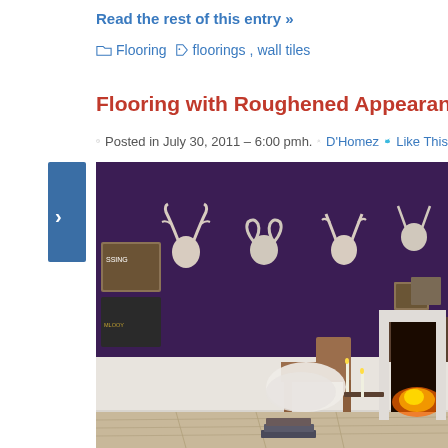Read the rest of this entry »
Flooring  floorings, wall tiles
Flooring with Roughened Appearance by M
Posted in July 30, 2011 – 6:00 pmh. D'Homez Like This
[Figure (photo): Interior room photo showing dark purple walls with white animal head silhouettes mounted on the wall, a wooden chair with white fur throw, candles on a side table, a white fireplace with fire burning, and light wooden plank flooring.]